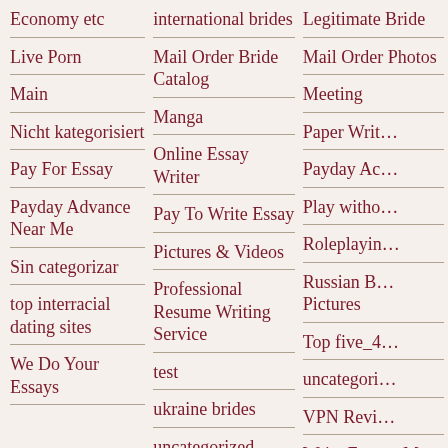Economy etc
Live Porn
Main
Nicht kategorisiert
Pay For Essay
Payday Advance Near Me
Sin categorizar
top interracial dating sites
We Do Your Essays
international brides
Mail Order Bride Catalog
Manga
Online Essay Writer
Pay To Write Essay
Pictures & Videos
Professional Resume Writing Service
test
ukraine brides
uncategorized
Write An Essay For Me
Legitimate Bride
Mail Order Photos
Meeting
Paper Writing
Payday Advance
Play without
Roleplaying
Russian Bride Pictures
Top five_4
uncategorized
VPN Review
Write Essay Me